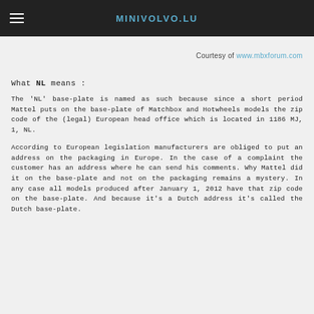MINIVOLVO.LU
Courtesy of www.mbxforum.com
What NL means :
The 'NL' base-plate is named as such because since a short period Mattel puts on the base-plate of Matchbox and Hotwheels models the zip code of the (legal) European head office which is located in 1186 MJ, 1, NL.
According to European legislation manufacturers are obliged to put an address on the packaging in Europe. In the case of a complaint the customer has an address where he can send his comments. Why Mattel did it on the base-plate and not on the packaging remains a mystery. In any case all models produced after January 1, 2012 have that zip code on the base-plate. And because it’s a Dutch address it’s called the Dutch base-plate.